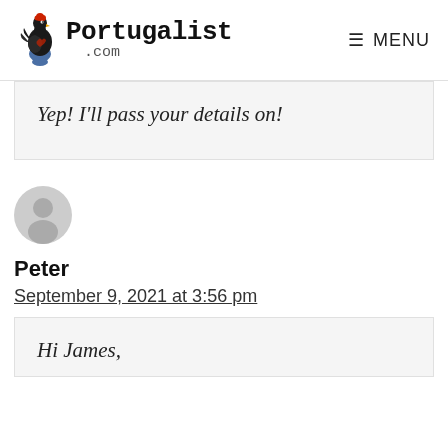Portugalist .com  MENU
Yep! I'll pass your details on!
[Figure (illustration): Generic user avatar icon - grey circle with person silhouette]
Peter
September 9, 2021 at 3:56 pm
Hi James,